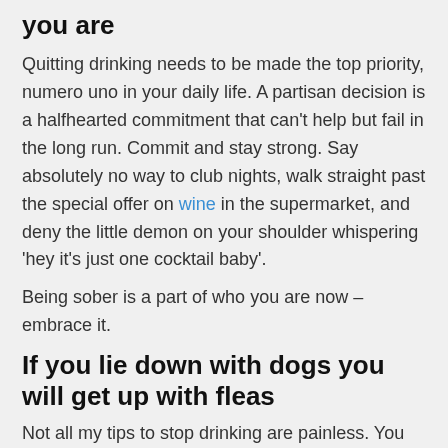you are
Quitting drinking needs to be made the top priority, numero uno in your daily life. A partisan decision is a halfhearted commitment that can't help but fail in the long run. Commit and stay strong. Say absolutely no way to club nights, walk straight past the special offer on wine in the supermarket, and deny the little demon on your shoulder whispering 'hey it's just one cocktail baby'.
Being sober is a part of who you are now – embrace it.
If you lie down with dogs you will get up with fleas
Not all my tips to stop drinking are painless. You may need to dump the friends who do not serve your new sober life!